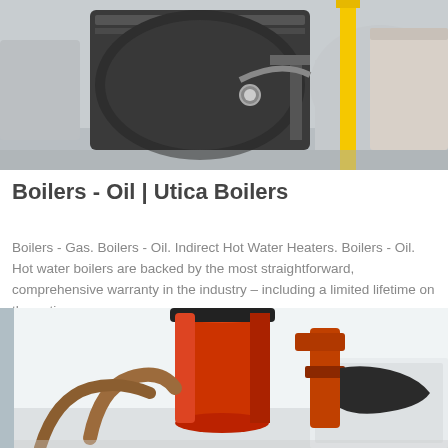[Figure (photo): Industrial boiler equipment in a facility — dark machinery with piping, yellow vertical support post, and large cylindrical tanks in the background]
Boilers - Oil | Utica Boilers
Boilers - Gas. Boilers - Oil. Indirect Hot Water Heaters. Boilers - Oil. Hot water boilers are backed by the most straightforward, comprehensive warranty in the industry – including a limited lifetime on the entire...
Get Price
[Figure (photo): Industrial boiler room with red cylindrical boiler components and orange-red pipe fittings in a white facility]